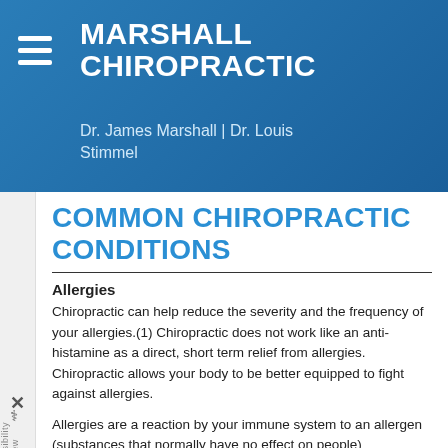MARSHALL CHIROPRACTIC
Dr. James Marshall | Dr. Louis Stimmel
COMMON CHIROPRACTIC CONDITIONS
Allergies
Chiropractic can help reduce the severity and the frequency of your allergies.(1) Chiropractic does not work like an anti-histamine as a direct, short term relief from allergies. Chiropractic allows your body to be better equipped to fight against allergies.
Allergies are a reaction by your immune system to an allergen (substances that normally have no effect on people)